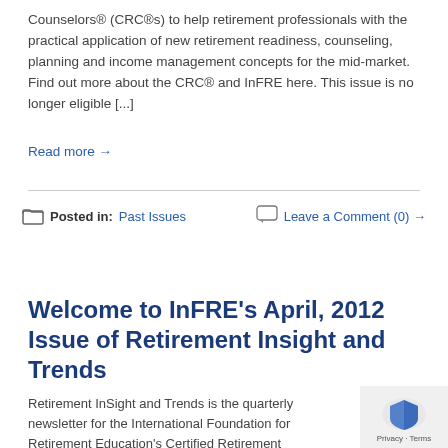Counselors® (CRC®s) to help retirement professionals with the practical application of new retirement readiness, counseling, planning and income management concepts for the mid-market. Find out more about the CRC® and InFRE here. This issue is no longer eligible [...]
Read more →
Posted in: Past Issues   Leave a Comment (0) →
Welcome to InFRE's April, 2012 Issue of Retirement Insight and Trends
Retirement InSight and Trends is the quarterly newsletter for the International Foundation for Retirement Education's Certified Retirement Counselors® (CRC®s) to help retirement professionals with the